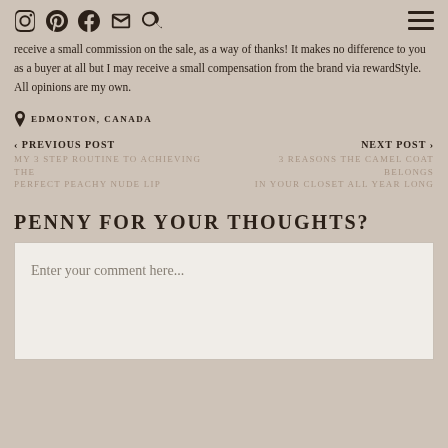Social icons: Instagram, Pinterest, Facebook, Email, Search; Hamburger menu
receive a small commission on the sale, as a way of thanks! It makes no difference to you as a buyer at all but I may receive a small compensation from the brand via rewardStyle. All opinions are my own.
EDMONTON, CANADA
< PREVIOUS POST
MY 3 STEP ROUTINE TO ACHIEVING THE PERFECT PEACHY NUDE LIP
NEXT POST >
3 REASONS THE CAMEL COAT BELONGS IN YOUR CLOSET ALL YEAR LONG
PENNY FOR YOUR THOUGHTS?
Enter your comment here...